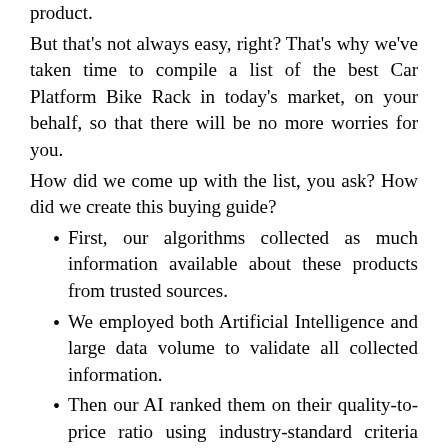product.
But that's not always easy, right? That's why we've taken time to compile a list of the best Car Platform Bike Rack in today's market, on your behalf, so that there will be no more worries for you.
How did we come up with the list, you ask? How did we create this buying guide?
First, our algorithms collected as much information available about these products from trusted sources.
We employed both Artificial Intelligence and large data volume to validate all collected information.
Then our AI ranked them on their quality-to-price ratio using industry-standard criteria that let us pick the best Car Platform Bike Rack currently on the market!